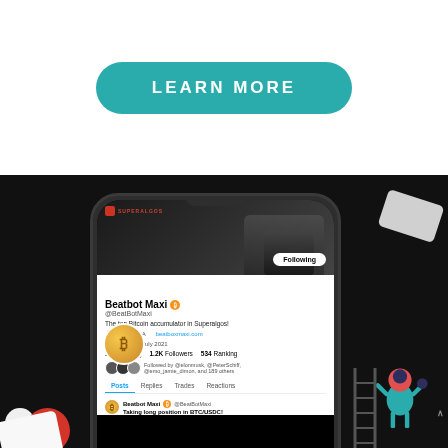[Figure (illustration): White background section with a teal/turquoise pill-shaped 'LEARN MORE' button centered on the page]
[Figure (screenshot): Dark background section showing a smartphone mockup displaying a social trading profile for 'Beatbot Maxi' (@BeatBotMaxi) on the Superalgos platform. Profile shows Bitcoin accumulator bot with 14 Following, 1.2K Followers, 534 Ranking. Shows Posts/Replies/Trades/Reactions tabs and a post preview. Decorative character illustration and cards visible around the phone.]